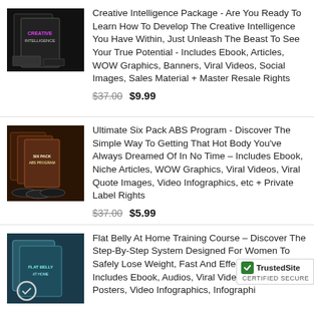[Figure (photo): Creative Intelligence Package product image - dark themed book/media set]
Creative Intelligence Package - Are You Ready To Learn How To Develop The Creative Intelligence You Have Within, Just Unleash The Beast To See Your True Potential - Includes Ebook, Articles, WOW Graphics, Banners, Viral Videos, Social Images, Sales Material + Master Resale Rights
$37.00  $9.99
[Figure (photo): Ultimate Six Pack ABS Program product image - fitness book/DVD set]
Ultimate Six Pack ABS Program - Discover The Simple Way To Getting That Hot Body You've Always Dreamed Of In No Time – Includes Ebook, Niche Articles, WOW Graphics, Viral Videos, Viral Quote Images, Video Infographics, etc + Private Label Rights
$37.00  $5.99
[Figure (photo): Flat Belly At Home Training Course product image - teal/turquoise themed book set]
Flat Belly At Home Training Course – Discover The Step-By-Step System Designed For Women To Safely Lose Weight, Fast And Effectively – Includes Ebook, Audios, Viral Videos, V Posters, Video Infographics, Infographi
[Figure (logo): TrustedSite CERTIFIED SECURE badge]